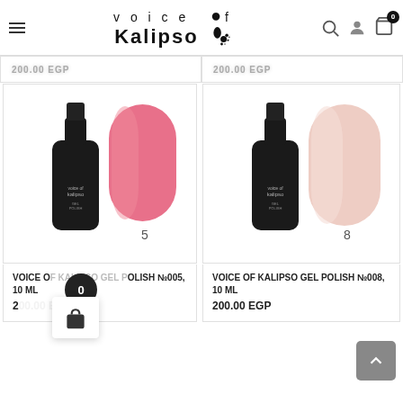[Figure (logo): Voice of Kalipso logo with ink drop splatter, navigation bar with hamburger menu, search, profile, and cart icons]
200.00 EGP (partially visible, top-left)
200.00 EGP (partially visible, top-right)
[Figure (photo): Voice of Kalipso Gel Polish No.005 10ml - dark bottle with bright pink/coral color swatch, number 5]
VOICE OF KALIPSO GEL POLISH №005, 10 ML
200.00 EGP
[Figure (photo): Voice of Kalipso Gel Polish No.008 10ml - dark bottle with pale pink/nude color swatch, number 8]
VOICE OF KALIPSO GEL POLISH №008, 10 ML
200.00 EGP